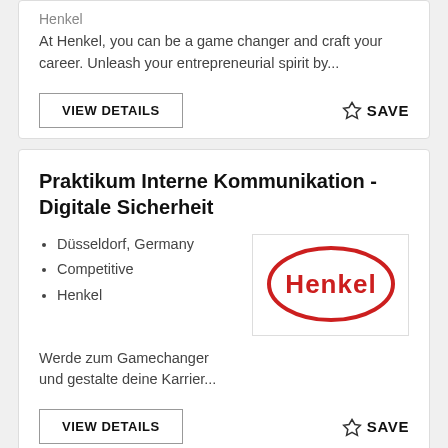At Henkel, you can be a game changer and craft your career. Unleash your entrepreneurial spirit by...
VIEW DETAILS
☆ SAVE
Praktikum Interne Kommunikation - Digitale Sicherheit
Düsseldorf, Germany
Competitive
Henkel
[Figure (logo): Henkel logo: red oval outline with 'Henkel' text in red inside]
Werde zum Gamechanger und gestalte deine Karrier...
VIEW DETAILS
☆ SAVE